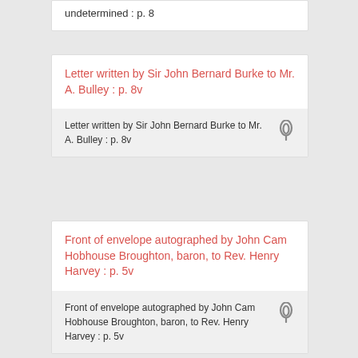undetermined : p. 8
Letter written by Sir John Bernard Burke to Mr. A. Bulley : p. 8v
Letter written by Sir John Bernard Burke to Mr. A. Bulley : p. 8v
Front of envelope autographed by John Cam Hobhouse Broughton, baron, to Rev. Henry Harvey : p. 5v
Front of envelope autographed by John Cam Hobhouse Broughton, baron, to Rev. Henry Harvey : p. 5v